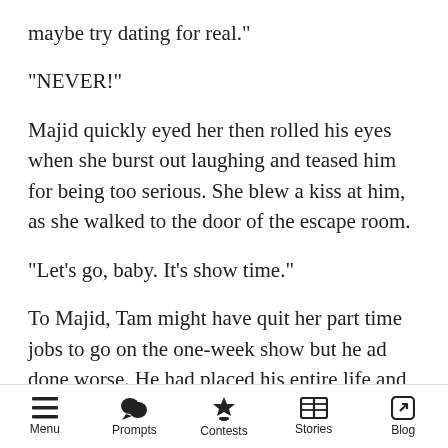maybe try dating for real."
"NEVER!"
Majid quickly eyed her then rolled his eyes when she burst out laughing and teased him for being too serious. She blew a kiss at him, as she walked to the door of the escape room.
"Let's go, baby. It's show time."
To Majid, Tam might have quit her part time jobs to go on the one-week show but he ad done worse. He had placed his entire life and future at risk for the money when he chose the show over his horrible job, and to him, there was no going
Menu  Prompts  Contests  Stories  Blog